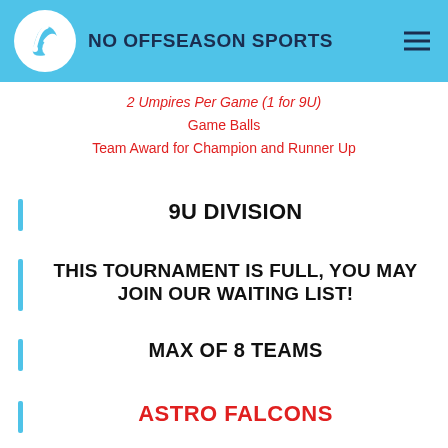NO OFFSEASON SPORTS
2 Umpires Per Game (1 for 9U)
Game Balls
Team Award for Champion and Runner Up
9U DIVISION
THIS TOURNAMENT IS FULL, YOU MAY JOIN OUR WAITING LIST!
MAX OF 8 TEAMS
ASTRO FALCONS
FENNELL BROS EXPRESS